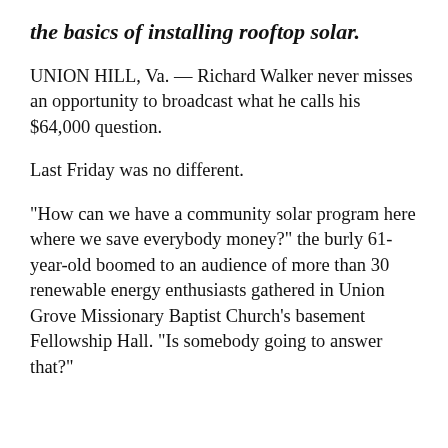the basics of installing rooftop solar.
UNION HILL, Va. — Richard Walker never misses an opportunity to broadcast what he calls his $64,000 question.
Last Friday was no different.
“How can we have a community solar program here where we save everybody money?” the burly 61-year-old boomed to an audience of more than 30 renewable energy enthusiasts gathered in Union Grove Missionary Baptist Church’s basement Fellowship Hall. “Is somebody going to answer that?”